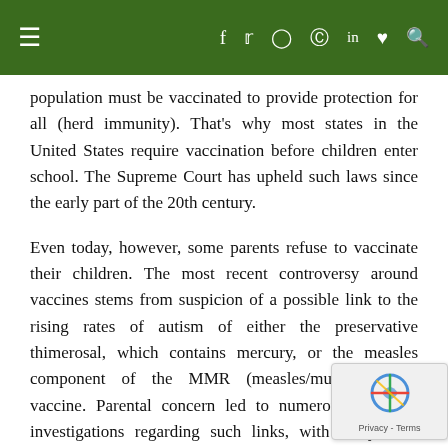≡  f  𝕥  ⊙  ℗  in  ♥  🔍
population must be vaccinated to provide protection for all (herd immunity). That's why most states in the United States require vaccination before children enter school. The Supreme Court has upheld such laws since the early part of the 20th century.
Even today, however, some parents refuse to vaccinate their children. The most recent controversy around vaccines stems from suspicion of a possible link to the rising rates of autism of either the preservative thimerosal, which contains mercury, or the measles component of the MMR (measles/mumps/rubella) vaccine. Parental concern led to numerous scientific investigations regarding such links, with study after study finding no connections. Nonetheless, thimerosal was phased out of most vaccines in 2001 and autism rates, however, have continued to rise.